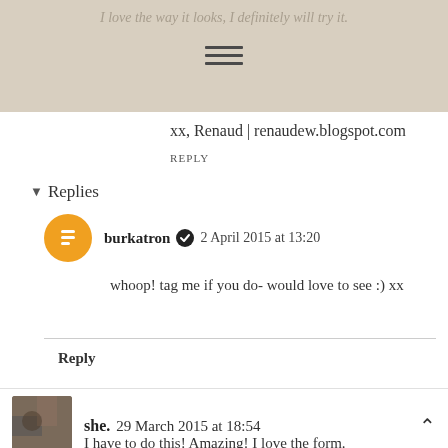I love the way it looks, I definitely will try it.
xx, Renaud | renaudew.blogspot.com
REPLY
Replies
burkatron  2 April 2015 at 13:20
whoop! tag me if you do- would love to see :) xx
Reply
she. 29 March 2015 at 18:54
I have to do this! Amazing! I love the form.